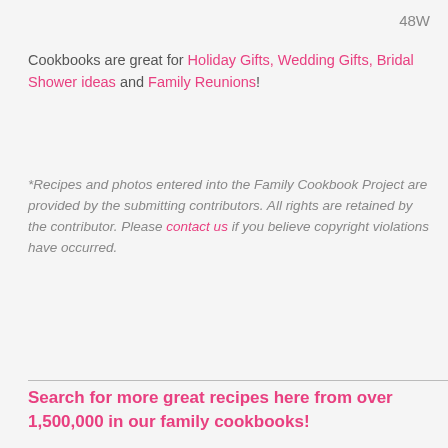48W
Cookbooks are great for Holiday Gifts, Wedding Gifts, Bridal Shower ideas and Family Reunions!
*Recipes and photos entered into the Family Cookbook Project are provided by the submitting contributors. All rights are retained by the contributor. Please contact us if you believe copyright violations have occurred.
Search for more great recipes here from over 1,500,000 in our family cookbooks!
[Figure (screenshot): Cookbook Project banner advertisement with infolinks label and background image]
[Figure (screenshot): BELK advertisement - Denim all day. www.belk.com with product image and play button]